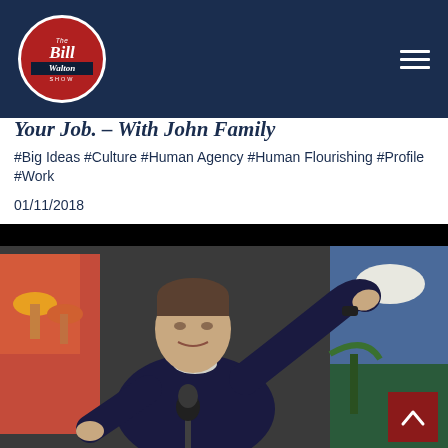The Bill Walton Show
Your Job. – With John Family
#Big Ideas #Culture #Human Agency #Human Flourishing #Profile #Work
01/11/2018
[Figure (photo): A man in a dark blazer gesturing with his right arm raised, seated at a microphone, with colorful artwork visible in the background]